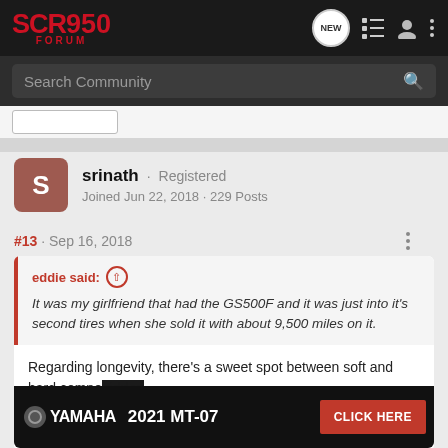SCR950 FORUM
Search Community
[Figure (screenshot): Cropped button element from previous page content]
srinath · Registered
Joined Jun 22, 2018 · 229 Posts
#13 · Sep 16, 2018
eddie said: ↑
It was my girlfriend that had the GS500F and it was just into it's second tires when she sold it with about 9,500 miles on it.
Regarding longevity, there's a sweet spot between soft and hard compo... Examp... manuf... rip as
[Figure (screenshot): Yamaha 2021 MT-07 advertisement banner with CLICK HERE button]